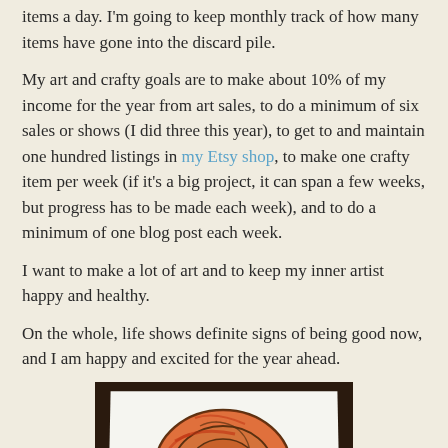items a day. I'm going to keep monthly track of how many items have gone into the discard pile.
My art and crafty goals are to make about 10% of my income for the year from art sales, to do a minimum of six sales or shows (I did three this year), to get to and maintain one hundred listings in my Etsy shop, to make one crafty item per week (if it's a big project, it can span a few weeks, but progress has to be made each week), and to do a minimum of one blog post each week.
I want to make a lot of art and to keep my inner artist happy and healthy.
On the whole, life shows definite signs of being good now, and I am happy and excited for the year ahead.
[Figure (photo): Photo of a colored pencil or watercolor drawing of an ammonite/spiral shell in orange and red tones, placed on a white sheet of paper on a dark wooden surface.]